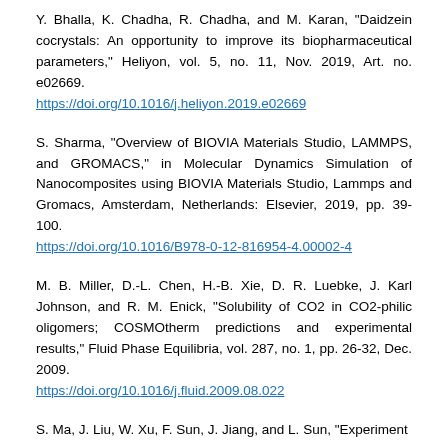Y. Bhalla, K. Chadha, R. Chadha, and M. Karan, "Daidzein cocrystals: An opportunity to improve its biopharmaceutical parameters," Heliyon, vol. 5, no. 11, Nov. 2019, Art. no. e02669. https://doi.org/10.1016/j.heliyon.2019.e02669
S. Sharma, "Overview of BIOVIA Materials Studio, LAMMPS, and GROMACS," in Molecular Dynamics Simulation of Nanocomposites using BIOVIA Materials Studio, Lammps and Gromacs, Amsterdam, Netherlands: Elsevier, 2019, pp. 39-100. https://doi.org/10.1016/B978-0-12-816954-4.00002-4
M. B. Miller, D.-L. Chen, H.-B. Xie, D. R. Luebke, J. Karl Johnson, and R. M. Enick, "Solubility of CO2 in CO2-philic oligomers; COSMOtherm predictions and experimental results," Fluid Phase Equilibria, vol. 287, no. 1, pp. 26-32, Dec. 2009. https://doi.org/10.1016/j.fluid.2009.08.022
S. Ma, J. Liu, W. Xu, F. Sun, J. Jiang, and L. Sun, "Experiment...